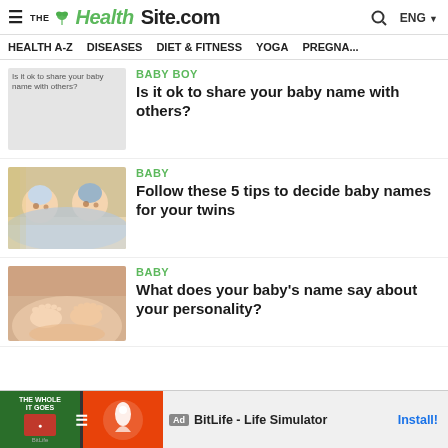THE HealthSite.com | ENG
HEALTH A-Z | DISEASES | DIET & FITNESS | YOGA | PREGNAN
[Figure (photo): Placeholder image with text: Is it ok to share your baby name with others?]
BABY BOY
Is it ok to share your baby name with others?
[Figure (photo): Two babies lying under a blanket, a twins photo]
BABY
Follow these 5 tips to decide baby names for your twins
[Figure (photo): Baby feet photo, close up]
BABY
What does your baby's name say about your personality?
Ad | BitLife - Life Simulator | Install!